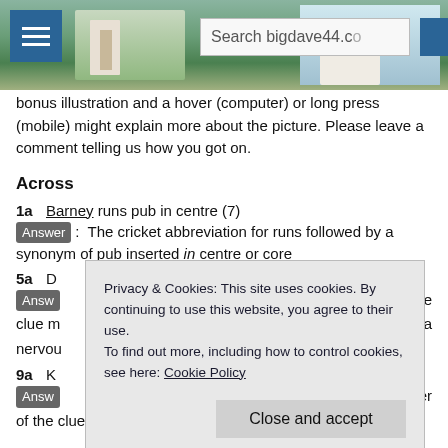bigdave44.com — Search bar and menu
bonus illustration and a hover (computer) or long press (mobile) might explain more about the picture. Please leave a comment telling us how you got on.
Across
1a   Barney runs pub in centre (7)
Answer:  The cricket abbreviation for runs followed by a synonym of pub inserted in centre or core
5a   D...
Answ...  ...he clue m... ...l a nervou...
9a   K...
Answ... ...ler of the clue
Privacy & Cookies: This site uses cookies. By continuing to use this website, you agree to their use. To find out more, including how to control cookies, see here: Cookie Policy